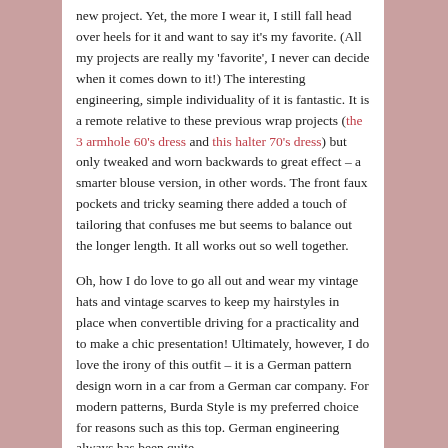new project.  Yet, the more I wear it, I still fall head over heels for it and want to say it's my favorite.  (All my projects are really my 'favorite', I never can decide when it comes down to it!)  The interesting engineering, simple individuality of it is fantastic.  It is a remote relative to these previous wrap projects (the 3 armhole 60's dress and this halter 70's dress) but only tweaked and worn backwards to great effect – a smarter blouse version, in other words.  The front faux pockets and tricky seaming there added a touch of tailoring that confuses me but seems to balance out the longer length.  It all works out so well together.

Oh, how I do love to go all out and wear my vintage hats and vintage scarves to keep my hairstyles in place when convertible driving for a practicality and to make a chic presentation!  Ultimately, however, I do love the irony of this outfit – it is a German pattern design worn in a car from a German car company.  For modern patterns, Burda Style is my preferred choice for reasons such as this top.  German engineering always has been quite